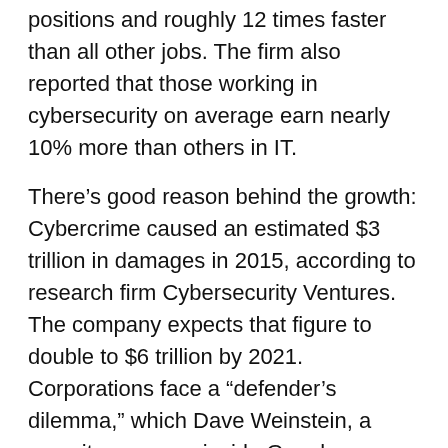positions and roughly 12 times faster than all other jobs. The firm also reported that those working in cybersecurity on average earn nearly 10% more than others in IT.
There's good reason behind the growth: Cybercrime caused an estimated $3 trillion in damages in 2015, according to research firm Cybersecurity Ventures. The company expects that figure to double to $6 trillion by 2021. Corporations face a “defender’s dilemma,” which Dave Weinstein, a security manager inside Google, summed up this way: “The defender has to be strong everywhere, every day. The attacker only has to win once.” For each set of bad guys, the defense side needs veritable armies, beefing up armaments and rushing to the rescue at the first sign of an attack.